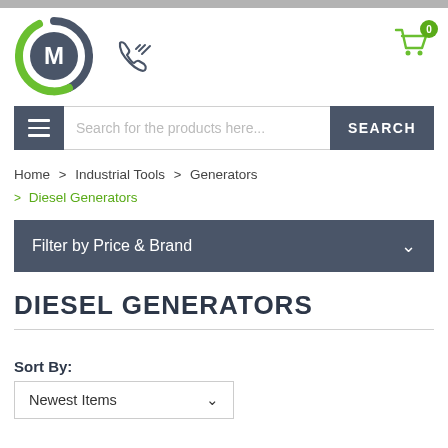[Figure (logo): Circular logo with letter M in dark blue-grey, with green and grey arc segments around it]
[Figure (illustration): Phone icon with signal lines indicating call]
[Figure (illustration): Shopping cart icon with green badge showing 0]
Search for the products here...
SEARCH
Home > Industrial Tools > Generators > Diesel Generators
Filter by Price & Brand
DIESEL GENERATORS
Sort By:
Newest Items